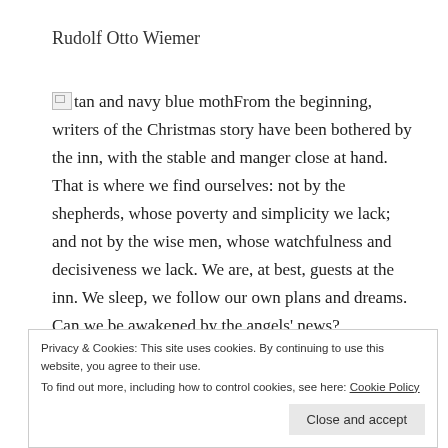Rudolf Otto Wiemer
tan and navy blue mothFrom the beginning, writers of the Christmas story have been bothered by the inn, with the stable and manger close at hand. That is where we find ourselves: not by the shepherds, whose poverty and simplicity we lack; and not by the wise men, whose watchfulness and decisiveness we lack. We are, at best, guests at the inn. We sleep, we follow our own plans and dreams. Can we be awakened by the angels' news?
Privacy & Cookies: This site uses cookies. By continuing to use this website, you agree to their use.
To find out more, including how to control cookies, see here: Cookie Policy
Close and accept